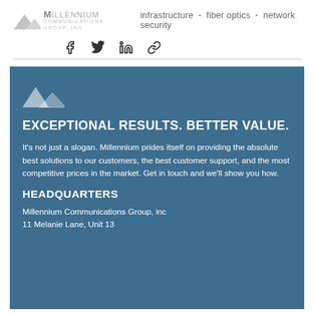infrastructure • fiber optics • network security
[Figure (logo): Millennium Communications Group mountain logo]
Share icons: Facebook, Twitter, LinkedIn, Link
EXCEPTIONAL RESULTS. BETTER VALUE.
It's not just a slogan. Millennium prides itself on providing the absolute best solutions to our customers, the best customer support, and the most competitive prices in the market. Get in touch and we'll show you how.
HEADQUARTERS
Millennium Communications Group, inc
11 Melanie Lane, Unit 13